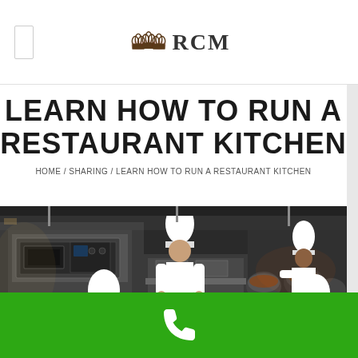[Figure (logo): RCM logo with chef hat icon and letters RCM in serif font]
LEARN HOW TO RUN A RESTAURANT KITCHEN
HOME / SHARING / LEARN HOW TO RUN A RESTAURANT KITCHEN
[Figure (photo): Restaurant kitchen photo showing chefs in white uniforms and tall chef hats working at stainless steel kitchen stations]
[Figure (other): Green call-to-action bar with white phone handset icon]